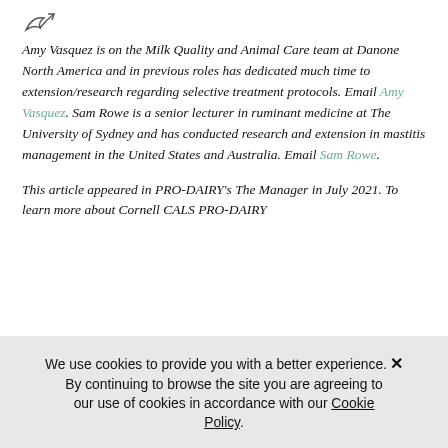[Figure (illustration): Small bird/arrow icon at top left]
Amy Vasquez is on the Milk Quality and Animal Care team at Danone North America and in previous roles has dedicated much time to extension/research regarding selective treatment protocols. Email Amy Vasquez. Sam Rowe is a senior lecturer in ruminant medicine at The University of Sydney and has conducted research and extension in mastitis management in the United States and Australia. Email Sam Rowe.
This article appeared in PRO-DAIRY's The Manager in July 2021. To learn more about Cornell CALS PRO-DAIRY
We use cookies to provide you with a better experience. By continuing to browse the site you are agreeing to our use of cookies in accordance with our Cookie Policy.